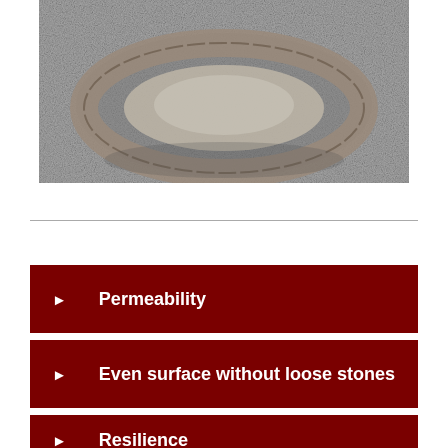[Figure (photo): Aerial or top-down photograph of a circular stone inlay pattern set into a gray gravel or asphalt surface, showing a ring of cobblestones forming an oval/ring shape with a central lighter area.]
Permeability
Even surface without loose stones
Resilience